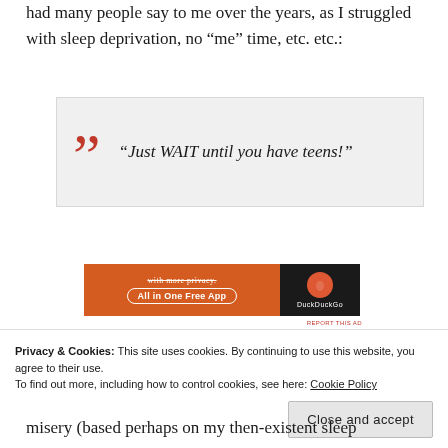had many people say to me over the years, as I struggled with sleep deprivation, no “me” time, etc. etc.:
“Just WAIT until you have teens!”
[Figure (other): DuckDuckGo advertisement banner: orange section with 'with more privacy. All in One Free App' text and DuckDuckGo black section with logo]
Privacy & Cookies: This site uses cookies. By continuing to use this website, you agree to their use. To find out more, including how to control cookies, see here: Cookie Policy
misery (based perhaps on my then-existent sleep